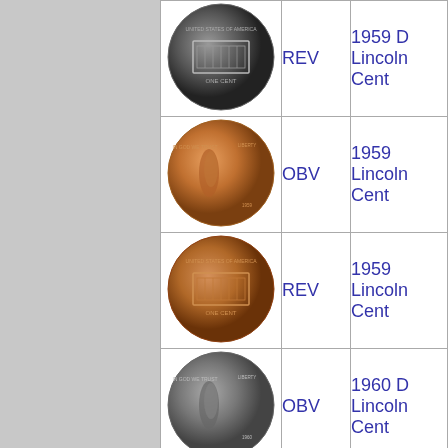| Image | Side | Name |
| --- | --- | --- |
| [coin image] | REV | 1959 D Lincoln Cent |
| [coin image] | OBV | 1959 Lincoln Cent |
| [coin image] | REV | 1959 Lincoln Cent |
| [coin image] | OBV | 1960 D Lincoln Cent |
| [coin image] | REV | 1960 D Lincoln Cent |
| [coin image] | OBV | 1960 D Lincoln Cent |
| [coin image] | OBV | 1960 D Lincoln Cent |
| [coin image] |  |  |